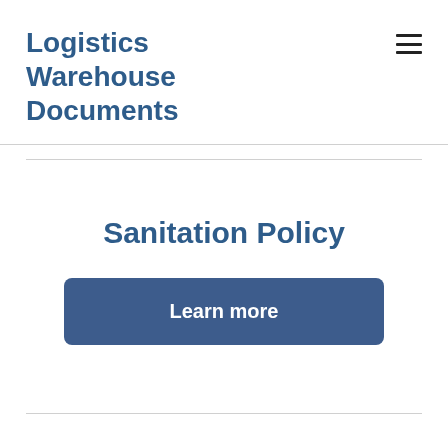Logistics Warehouse Documents
[Figure (other): Hamburger menu icon (three horizontal lines)]
Sanitation Policy
Learn more